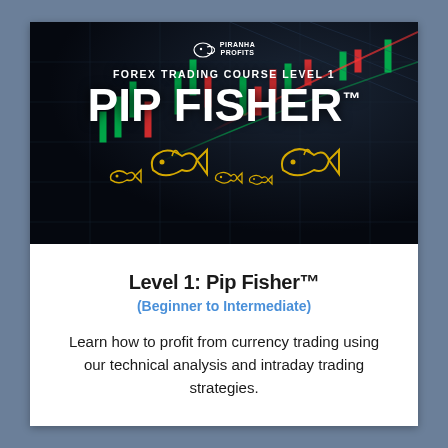[Figure (illustration): Forex Trading Course Level 1 Pip Fisher promotional banner with dark background showing trading charts, Piranha Profits logo, and golden fish illustrations]
Level 1: Pip Fisher™
(Beginner to Intermediate)
Learn how to profit from currency trading using our technical analysis and intraday trading strategies.